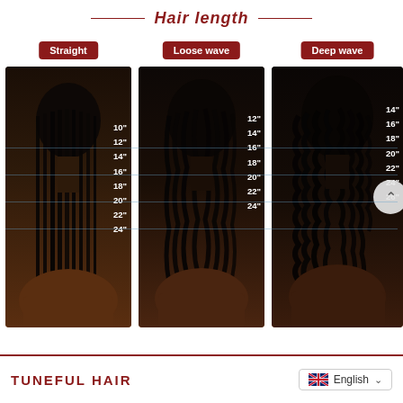Hair length
[Figure (infographic): Hair length comparison infographic showing three women from behind with different hair types (Straight, Loose wave, Deep wave) and inch measurements overlaid on each. Straight: 10", 12", 14", 16", 18", 20", 22", 24". Loose wave: 12", 14", 16", 18", 20", 22", 24". Deep wave: 14", 16", 18", 20", 22", 24", 26".]
TUNEFUL HAIR   English